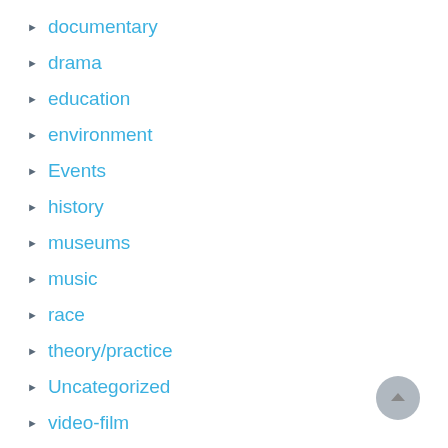documentary
drama
education
environment
Events
history
museums
music
race
theory/practice
Uncategorized
video-film
web design